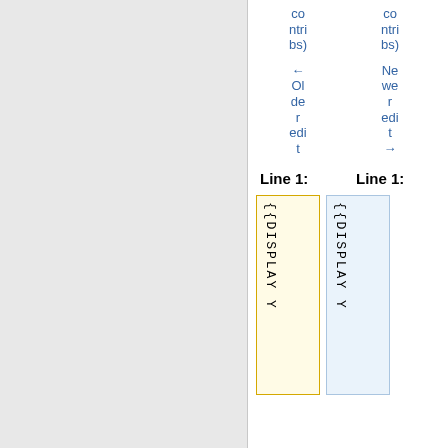contribs)
contribs)
← Older edit
Newer edit →
Line 1:
Line 1:
{{DISPLAY Y
{{DISPLAY Y